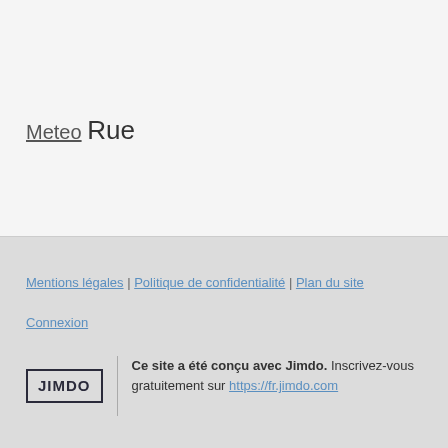Meteo Rue
Mentions légales | Politique de confidentialité | Plan du site
Connexion
Ce site a été conçu avec Jimdo. Inscrivez-vous gratuitement sur https://fr.jimdo.com